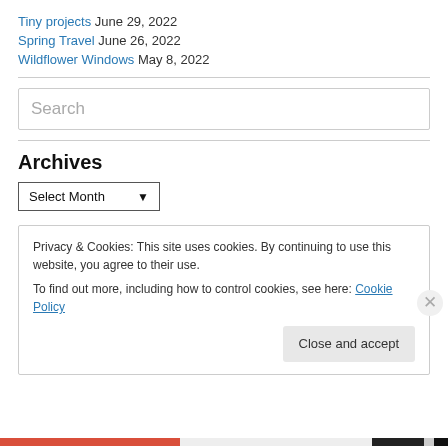Tiny projects June 29, 2022
Spring Travel June 26, 2022
Wildflower Windows May 8, 2022
Search
Archives
Select Month
Privacy & Cookies: This site uses cookies. By continuing to use this website, you agree to their use.
To find out more, including how to control cookies, see here: Cookie Policy
Close and accept